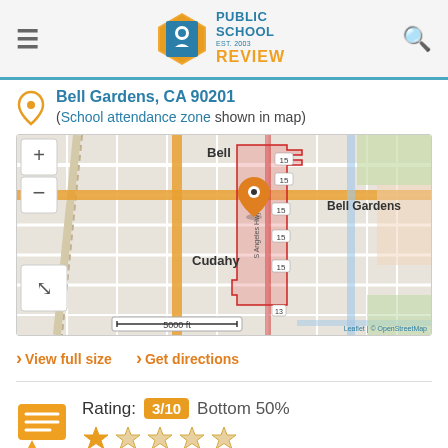Public School Review — EST. 2003
Bell Gardens, CA 90201
(School attendance zone shown in map)
[Figure (map): OpenStreetMap showing Bell Gardens, Cudahy area with school attendance zone highlighted in red/pink. Shows Bell and Bell Gardens neighborhoods with a location pin marker. Leaflet | © OpenStreetMap attribution. Scale bar: 5000 ft.]
> View full size  > Get directions
Rating: 3/10  Bottom 50%
[Figure (infographic): Star rating showing 2 filled stars out of 5 (orange stars)]